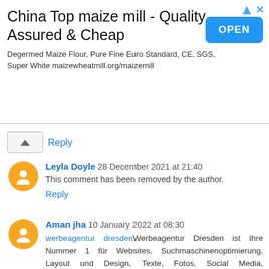[Figure (other): Advertisement banner for China Top maize mill with OPEN button]
Reply
Leyla Doyle 28 December 2021 at 21:40
This comment has been removed by the author.
Reply
Aman jha 10 January 2022 at 08:30
werbeagentur dresdenWerbeagentur Dresden ist Ihre Nummer 1 für Websites, Suchmaschinenoptimierung, Layout und Design, Texte, Fotos, Social Media, Beschriftungen mit Ideen.
Reply